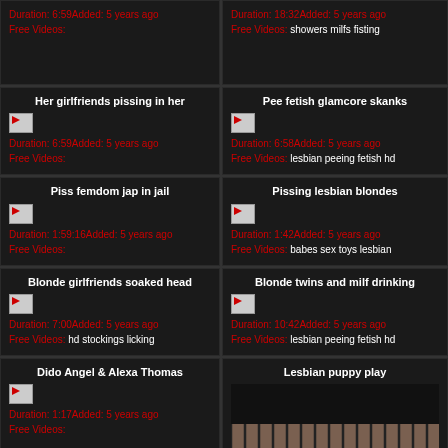Duration: 6:59Added: 5 years ago
Free Videos:
Duration: 18:32Added: 5 years ago
Free Videos: showers milfs fisting
Her girlfriends pissing in her
Duration: 6:59Added: 5 years ago
Free Videos:
Pee fetish glamcore skanks
Duration: 6:58Added: 5 years ago
Free Videos: lesbian peeing fetish hd
Piss femdom jap in jail
Duration: 1:59:16Added: 5 years ago
Free Videos:
Pissing lesbian blondes
Duration: 1:42Added: 5 years ago
Free Videos: babes sex toys lesbian
Blonde girlfriends soaked head
Duration: 7:00Added: 5 years ago
Free Videos: hd stockings licking
Blonde twins and milf drinking
Duration: 10:42Added: 5 years ago
Free Videos: lesbian peeing fetish hd
Dido Angel & Alexa Thomas
Duration: 1:17Added: 5 years ago
Free Videos:
Lesbian puppy play
[Figure (photo): Photo of dalmatian dogs in a cage]